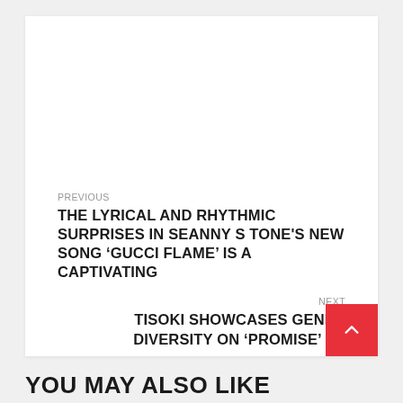PREVIOUS
THE LYRICAL AND RHYTHMIC SURPRISES IN SEANNY S TONE'S NEW SONG ‘GUCCI FLAME’ IS A CAPTIVATING
NEXT
TISOKI SHOWCASES GENRE DIVERSITY ON ‘PROMISE’ EP
YOU MAY ALSO LIKE